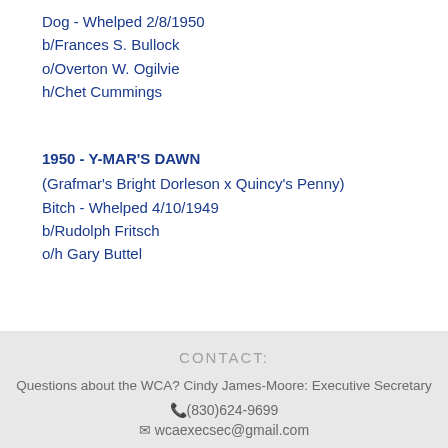Dog - Whelped 2/8/1950
b/Frances S. Bullock
o/Overton W. Ogilvie
h/Chet Cummings
1950 - Y-MAR'S DAWN
(Grafmar's Bright Dorleson x Quincy's Penny)
Bitch - Whelped 4/10/1949
b/Rudolph Fritsch
o/h Gary Buttel
CONTACT:
Questions about the WCA? Cindy James-Moore: Executive Secretary
(830)624-9699
wcaexecsec@gmail.com